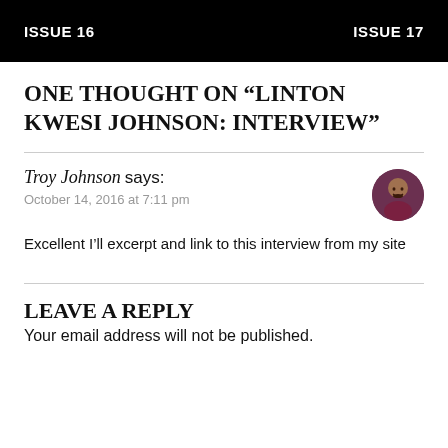ISSUE 16   ISSUE 17
ONE THOUGHT ON “LINTON KWESI JOHNSON: INTERVIEW”
Troy Johnson says:
October 14, 2016 at 7:11 pm
Excellent I’ll excerpt and link to this interview from my site
LEAVE A REPLY
Your email address will not be published.